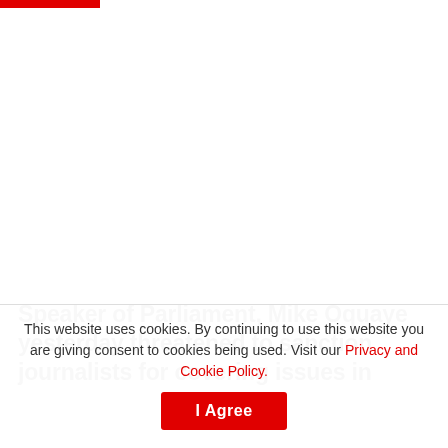Speaker of Parliament, Mike Oquaye yesterday threatened to sanction journalists for covering issues in
This website uses cookies. By continuing to use this website you are giving consent to cookies being used. Visit our Privacy and Cookie Policy. I Agree